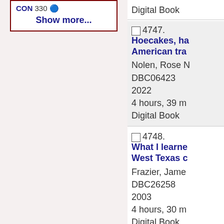CON 330 — Show more...
4747. Hoecakes, ha... American tra... Nolen, Rose N... DBC06423 2022 4 hours, 39 m... Digital Book
4748. What I learne... West Texas c... Frazier, Jame... DBC26258 2003 4 hours, 30 m... Digital Book
4749. Writing home... West Bouldrey, Bria... DBC19512 1999